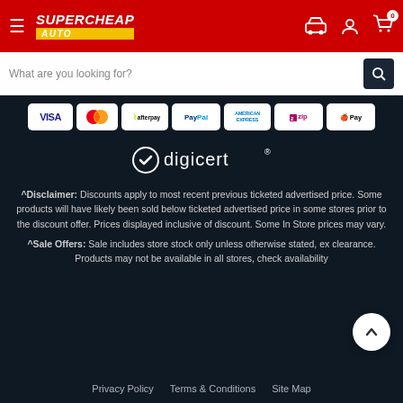[Figure (logo): Supercheap Auto logo in red header with hamburger menu and icons]
[Figure (screenshot): Search bar with placeholder text 'What are you looking for?' and search button]
[Figure (infographic): Payment method badges: VISA, MasterCard, afterpay, PayPal, American Express, zip, Apple Pay]
[Figure (logo): DigiCert security logo]
^Disclaimer: Discounts apply to most recent previous ticketed advertised price. Some products will have likely been sold below ticketed advertised price in some stores prior to the discount offer. Prices displayed inclusive of discount. Some In Store prices may vary.
^Sale Offers: Sale includes store stock only unless otherwise stated, ex clearance. Products may not be available in all stores, check availability
Privacy Policy   Terms & Conditions   Site Map